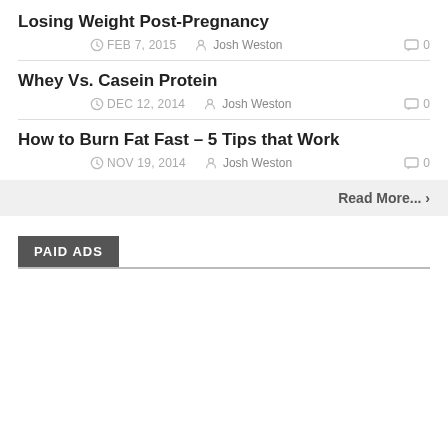Losing Weight Post-Pregnancy
FEB 7, 2015  Josh Weston  0
Whey Vs. Casein Protein
DEC 12, 2014  Josh Weston  0
How to Burn Fat Fast – 5 Tips that Work
NOV 19, 2014  Josh Weston  0
Read More... ›
PAID ADS